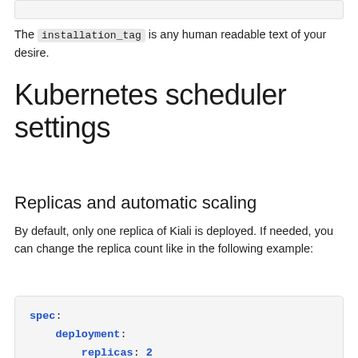The installation_tag is any human readable text of your desire.
Kubernetes scheduler settings
Replicas and automatic scaling
By default, only one replica of Kiali is deployed. If needed, you can change the replica count like in the following example:
spec:
  deployment:
    replicas: 2